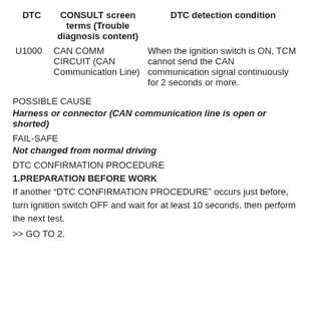| DTC | CONSULT screen terms (Trouble diagnosis content) | DTC detection condition |
| --- | --- | --- |
| U1000 | CAN COMM CIRCUIT (CAN Communication Line) | When the ignition switch is ON, TCM cannot send the CAN communication signal continuously for 2 seconds or more. |
POSSIBLE CAUSE
Harness or connector (CAN communication line is open or shorted)
FAIL-SAFE
Not changed from normal driving
DTC CONFIRMATION PROCEDURE
1.PREPARATION BEFORE WORK
If another “DTC CONFIRMATION PROCEDURE” occurs just before, turn ignition switch OFF and wait for at least 10 seconds, then perform the next test.
>> GO TO 2.